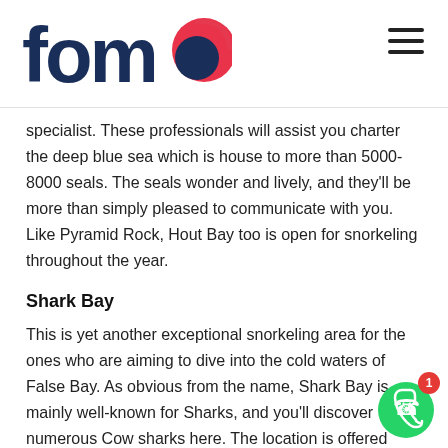fomo
specialist. These professionals will assist you charter the deep blue sea which is house to more than 5000-8000 seals. The seals wonder and lively, and they'll be more than simply pleased to communicate with you. Like Pyramid Rock, Hout Bay too is open for snorkeling throughout the year.
Shark Bay
This is yet another exceptional snorkeling area for the ones who are aiming to dive into the cold waters of False Bay. As obvious from the name, Shark Bay is mainly well-known for Sharks, and you'll discover numerous Cow sharks here. The location is offered totally free diving, however given that it lies in the Castle Rock Marine Protected Area, you'll require a previous license free of charge diving here.
The Sharks are typically active from September to December. So this area is perfect for winter season snorkeling. In case you're a be who's scared of swimming with the sharks, fret not, for cow sha ruled out to be unsafe. The location boasts outstanding marine life, be you matter they are term to account.